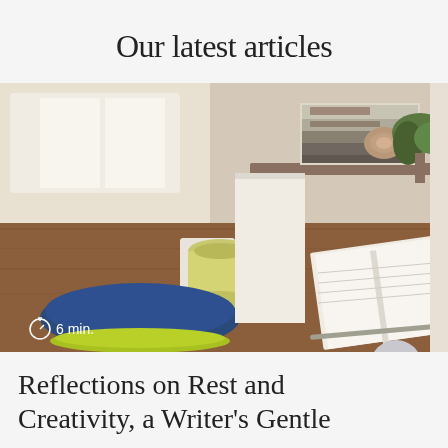Our latest articles
[Figure (photo): A styled desk scene showing a yellow ceramic cup on a white coaster, a dark blue pouch with yellow-green zipper detail, an open white notebook with a pen, and stacked books in the background. A timer icon with '6 min.' is overlaid in the lower-left corner.]
Reflections on Rest and Creativity, a Writer's Gentle